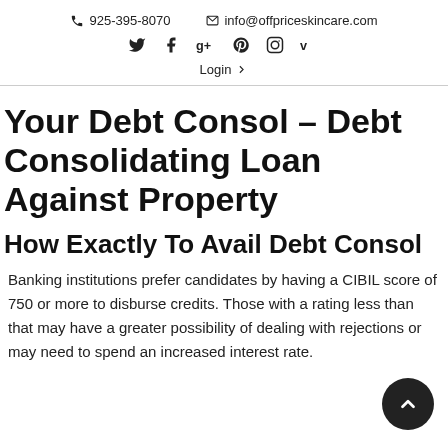925-395-8070  info@offpriceskincare.com
Twitter Facebook Google+ Pinterest Instagram Vimeo
Login
Your Debt Consol – Debt Consolidating Loan Against Property
How Exactly To Avail Debt Consol
Banking institutions prefer candidates by having a CIBIL score of 750 or more to disburse credits. Those with a rating less than that may have a greater possibility of dealing with rejections or may need to spend an increased interest rate.